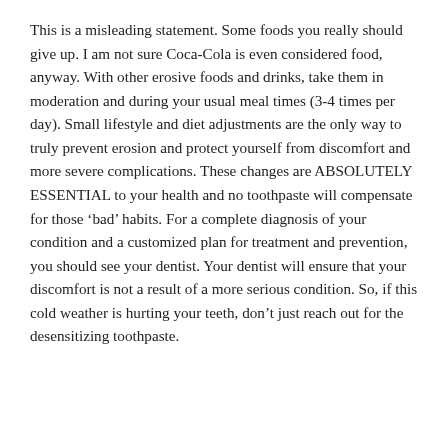This is a misleading statement. Some foods you really should give up. I am not sure Coca-Cola is even considered food, anyway. With other erosive foods and drinks, take them in moderation and during your usual meal times (3-4 times per day). Small lifestyle and diet adjustments are the only way to truly prevent erosion and protect yourself from discomfort and more severe complications. These changes are ABSOLUTELY ESSENTIAL to your health and no toothpaste will compensate for those 'bad' habits. For a complete diagnosis of your condition and a customized plan for treatment and prevention, you should see your dentist. Your dentist will ensure that your discomfort is not a result of a more serious condition. So, if this cold weather is hurting your teeth, don't just reach out for the desensitizing toothpaste.